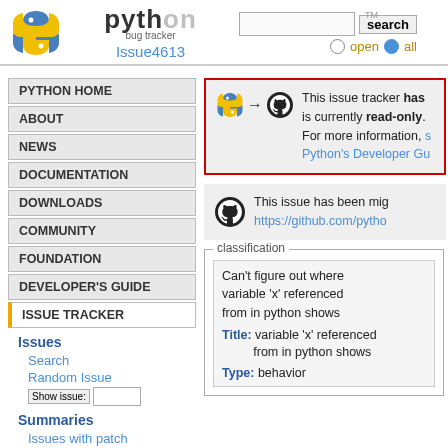Python Bug Tracker — Issue4613
PYTHON HOME
ABOUT
NEWS
DOCUMENTATION
DOWNLOADS
COMMUNITY
FOUNDATION
DEVELOPER'S GUIDE
ISSUE TRACKER
Issues
Search
Random Issue
Summaries
Issues with patch
This issue tracker has moved and is currently read-only. For more information, see Python's Developer Guide
This issue has been migrated to https://github.com/pytho
classification — Can't figure out where variable 'x' referenced from in python shows
Title: Can't figure out where variable 'x' referenced from in python shows
Type: behavior